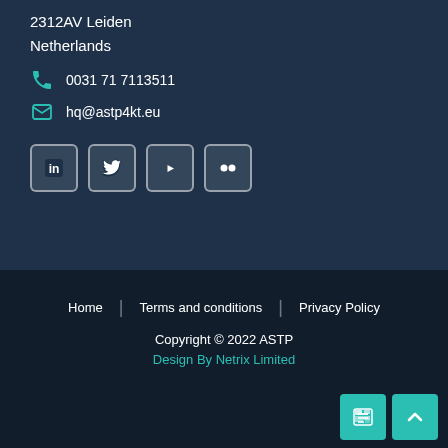2312AV Leiden
Netherlands
0031 71 7113511
hq@astp4kt.eu
[Figure (other): Social media icons: LinkedIn, Twitter, YouTube, Flickr]
Home | Terms and conditions | Privacy Policy
Copyright © 2022 ASTP
Design By Netrix Limited